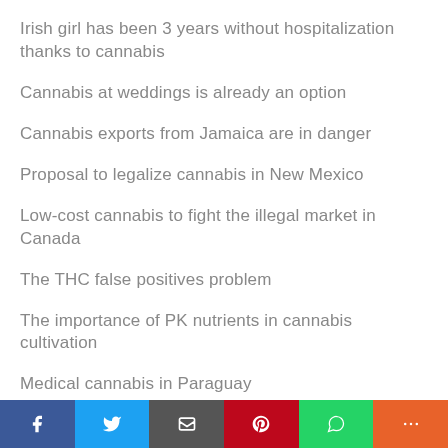Irish girl has been 3 years without hospitalization thanks to cannabis
Cannabis at weddings is already an option
Cannabis exports from Jamaica are in danger
Proposal to legalize cannabis in New Mexico
Low-cost cannabis to fight the illegal market in Canada
The THC false positives problem
The importance of PK nutrients in cannabis cultivation
Medical cannabis in Paraguay
Bill Turnbull smoking cannabis on TV